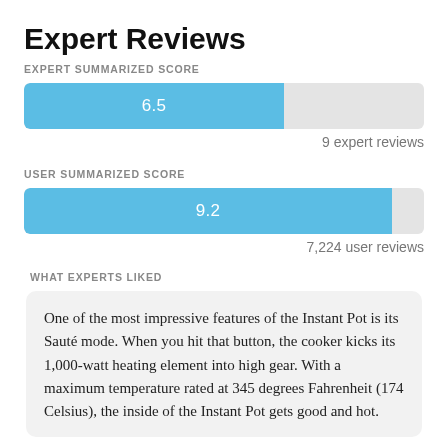Expert Reviews
EXPERT SUMMARIZED SCORE
[Figure (bar-chart): Expert Summarized Score]
9 expert reviews
USER SUMMARIZED SCORE
[Figure (bar-chart): User Summarized Score]
7,224 user reviews
WHAT EXPERTS LIKED
One of the most impressive features of the Instant Pot is its Sauté mode. When you hit that button, the cooker kicks its 1,000-watt heating element into high gear. With a maximum temperature rated at 345 degrees Fahrenheit (174 Celsius), the inside of the Instant Pot gets good and hot.